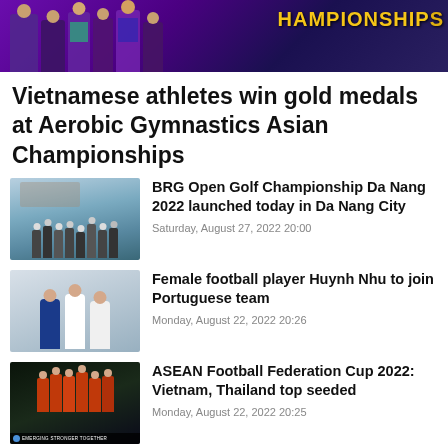[Figure (photo): Banner image showing gymnasts/athletes at a championship event with purple background and gold CHAMPIONSHIPS text]
Vietnamese athletes win gold medals at Aerobic Gymnastics Asian Championships
[Figure (photo): Group of people standing outdoors, golf championship related]
BRG Open Golf Championship Da Nang 2022 launched today in Da Nang City
Saturday, August 27, 2022 20:00
[Figure (photo): Female football player Huynh Nhu with others at airport]
Female football player Huynh Nhu to join Portuguese team
Monday, August 22, 2022 20:26
[Figure (photo): ASEAN football team photo with STRONGER TOGETHER banner]
ASEAN Football Federation Cup 2022: Vietnam, Thailand top seeded
Monday, August 22, 2022 20:25